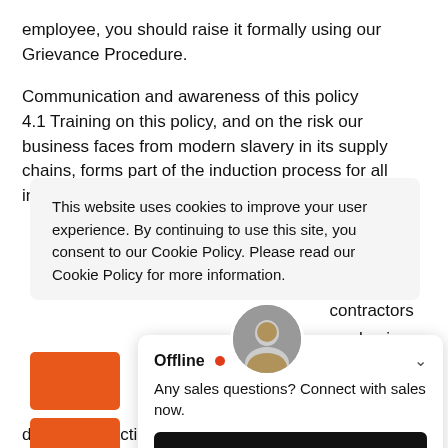employee, you should raise it formally using our Grievance Procedure.
Communication and awareness of this policy 4.1 Training on this policy, and on the risk our business faces from modern slavery in its supply chains, forms part of the induction process for all individuals who provided as modern slavery contractors our business appropriate
This website uses cookies to improve your user experience. By continuing to use this site, you consent to our Cookie Policy. Please read our Cookie Policy for more information.
Offline • Any sales questions? Connect with sales now. TEXT SALES NOW
ll face disciplinary action, which could result in dismissal for